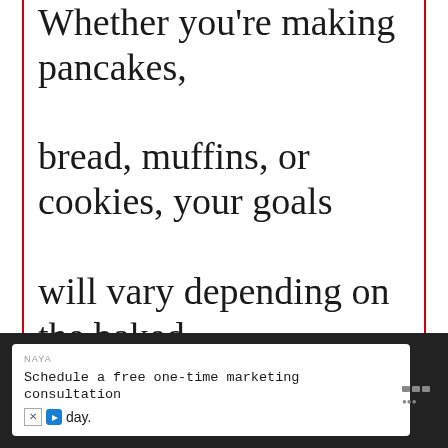Whether you're making pancakes, bread, muffins, or cookies, your goals will vary depending on the baked products you make. Although the two can be swapped, the flour specified ... the recipe will nearly always yield
[Figure (screenshot): Social media UI overlay with heart (like) button in blue circle, share button, and 'What's Next' card showing a thumbnail and 'How long does...' text]
[Figure (screenshot): Advertisement bar at bottom: NAYA brand, 'Schedule a free one-time marketing consultation today.' with X and play icons, and toolbar icon on right]